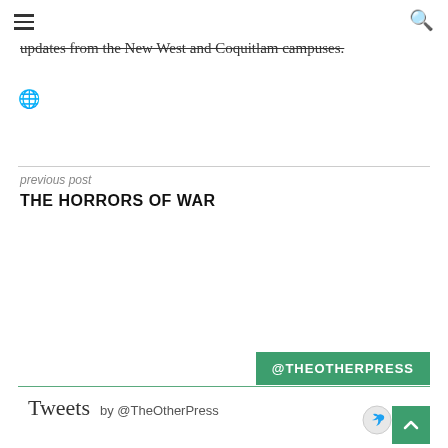☰  🔍
updates from the New West and Coquitlam campuses.
🌐
previous post
THE HORRORS OF WAR
@THEOTHERPRESS
Tweets by @TheOtherPress